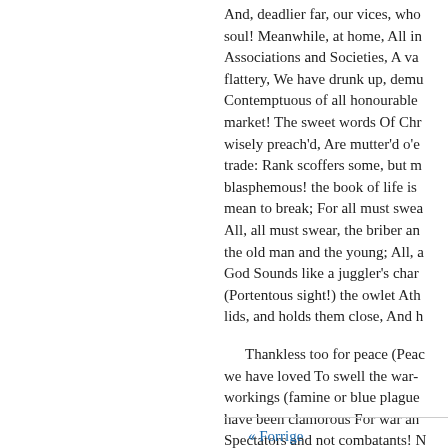And, deadlier far, our vices, who soul! Meanwhile, at home, All in Associations and Societies, A va flattery, We have drunk up, demu Contemptuous of all honourable market! The sweet words Of Chr wisely preach'd, Are mutter'd o'e trade: Rank scoffers some, but m blasphemous! the book of life is mean to break; For all must swea All, all must swear, the briber an the old man and the young; All, a God Sounds like a juggler's char (Portentous sight!) the owlet Ath lids, and holds them close, And h
Thankless too for peace (Peac we have loved To swell the war- workings (famine or blue plague have been clamorous For war an Spectators and not combatants! N However dim and vague, too vag preamble, holy names,
« Forrige